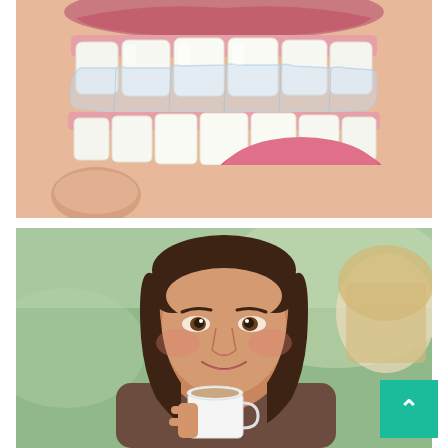[Figure (photo): Close-up photo of a person's mouth showing clear dental aligner/retainer being placed on upper teeth, with lower teeth and tongue visible below]
[Figure (photo): Photo of a smiling young woman with long dark hair holding a white coffee cup, with a blurred person in the foreground and a soft green background]